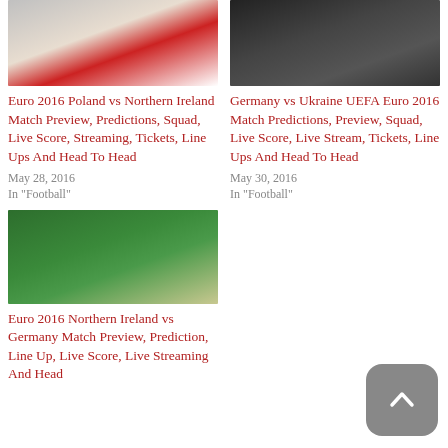[Figure (photo): Poland football team squad photo in red and white kits]
Euro 2016 Poland vs Northern Ireland Match Preview, Predictions, Squad, Live Score, Streaming, Tickets, Line Ups And Head To Head
May 28, 2016
In "Football"
[Figure (photo): Germany football team squad photo in dark kits]
Germany vs Ukraine UEFA Euro 2016 Match Predictions, Preview, Squad, Live Score, Live Stream, Tickets, Line Ups And Head To Head
May 30, 2016
In "Football"
[Figure (photo): Northern Ireland football team squad photo in green kits]
Euro 2016 Northern Ireland vs Germany Match Preview, Prediction, Line Up, Live Score, Live Streaming And Head